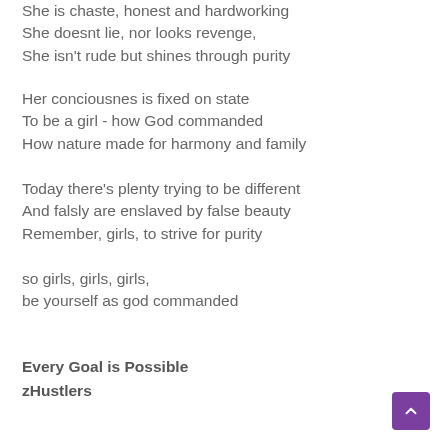She is chaste, honest and hardworking
She doesnt lie, nor looks revenge,
She isn't rude but shines through purity
Her conciousnes is fixed on state
To be a girl - how God commanded
How nature made for harmony and family
Today there's plenty trying to be different
And falsly are enslaved by false beauty
Remember, girls, to strive for purity
so girls, girls, girls,
be yourself as god commanded
Every Goal is Possible
zHustlers